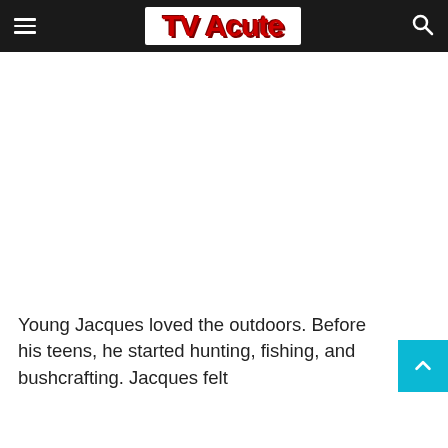TV Acute
Young Jacques loved the outdoors. Before his teens, he started hunting, fishing, and bushcrafting. Jacques felt